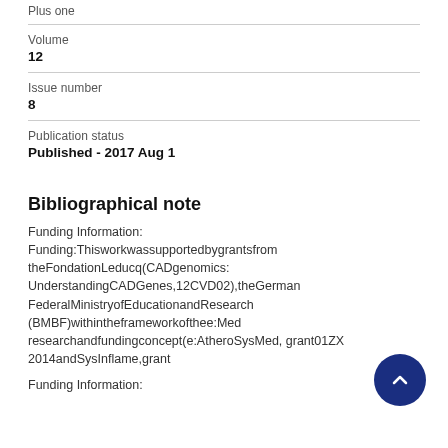Plus one
Volume
12
Issue number
8
Publication status
Published - 2017 Aug 1
Bibliographical note
Funding Information: Funding:Thisworkwassupportedbygrantsfrom theFondationLeducq(CADgenomics: UnderstandingCADGenes,12CVD02),theGerman FederalMinistryofEducationandResearch (BMBF)withintheframeworkofthee:Med researchandfundingconcept(e:AtheroSysMed, grant01ZX 2014andSysInflame,grant
Funding Information: